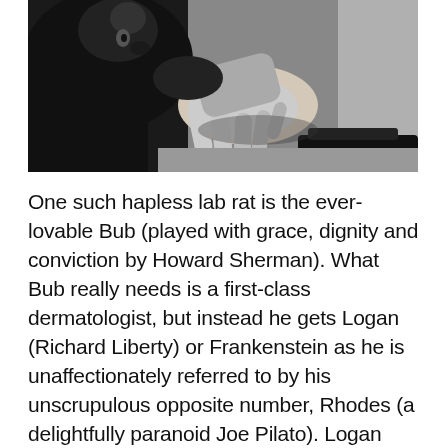[Figure (photo): Black and white photograph showing a person's hand reaching down, with a dark figure (appears to be a zombie or monster character) visible in the background.]
One such hapless lab rat is the ever-lovable Bub (played with grace, dignity and conviction by Howard Sherman). What Bub really needs is a first-class dermatologist, but instead he gets Logan (Richard Liberty) or Frankenstein as he is unaffectionately referred to by his unscrupulous opposite number, Rhodes (a delightfully paranoid Joe Pilato). Logan has a number of delightfully